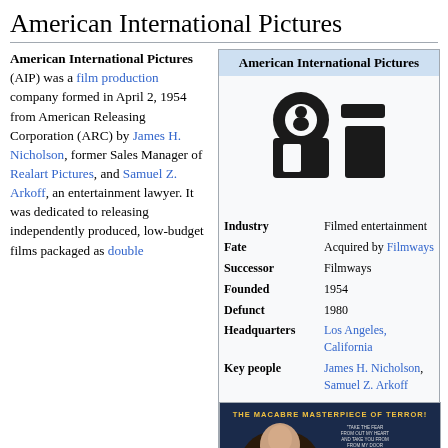American International Pictures
American International Pictures (AIP) was a film production company formed in April 2, 1954 from American Releasing Corporation (ARC) by James H. Nicholson, former Sales Manager of Realart Pictures, and Samuel Z. Arkoff, an entertainment lawyer. It was dedicated to releasing independently produced, low-budget films packaged as double
|  | American International Pictures |
| --- | --- |
| Industry | Filmed entertainment |
| Fate | Acquired by Filmways |
| Successor | Filmways |
| Founded | 1954 |
| Defunct | 1980 |
| Headquarters | Los Angeles, California |
| Key people | James H. Nicholson, Samuel Z. Arkoff |
[Figure (photo): AIP logo - stylized 'ai' letters in black]
[Figure (photo): The Macabre Masterpiece of Terror! movie poster]